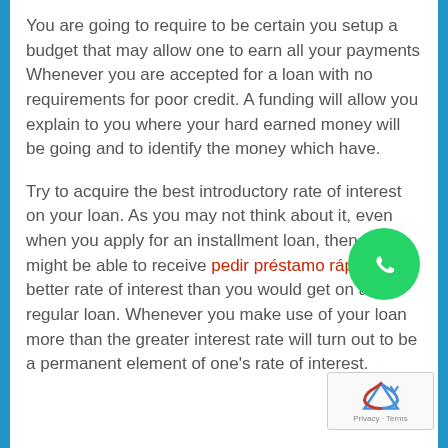You are going to require to be certain you setup a budget that may allow one to earn all your payments Whenever you are accepted for a loan with no requirements for poor credit. A funding will allow you explain to you where your hard earned money will be going and to identify the money which have.
Try to acquire the best introductory rate of interest on your loan. As you may not think about it, even when you apply for an installment loan, then you might be able to receive pedir préstamo rápido a better rate of interest than you would get on a regular loan. Whenever you make use of your loan more than the greater interest rate will turn out to be a permanent element of one's rate of interest.